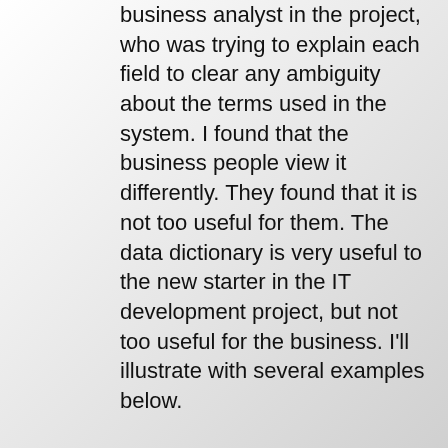business analyst in the project, who was trying to explain each field to clear any ambiguity about the terms used in the system. I found that the business people view it differently. They found that it is not too useful for them. The data dictionary is very useful to the new starter in the IT development project, but not too useful for the business. I'll illustrate with several examples below.

In the database there